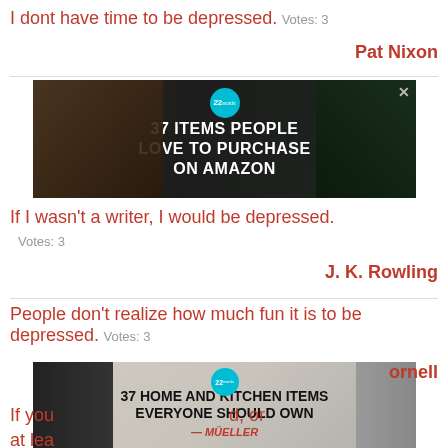I dont have time to be depressed.  Votes: 3
Pat Nixon
[Figure (screenshot): Advertisement banner: 37 Items People Love to Purchase on Amazon, with teal badge showing '22 words', close X button, dark background with kitchen items]
If I wasn't a writer, I would be depressed.  Votes: 3
J. K. Rowling
People don't realize how much fun it is to be depressed.  Votes: 3
[Figure (screenshot): Advertisement banner: 37 Home and Kitchen Items Everyone Should Own, Mueller brand, with teal badge showing '22 words', close X button, light background with kitchen tool]
ornell
If you  d, or at lea